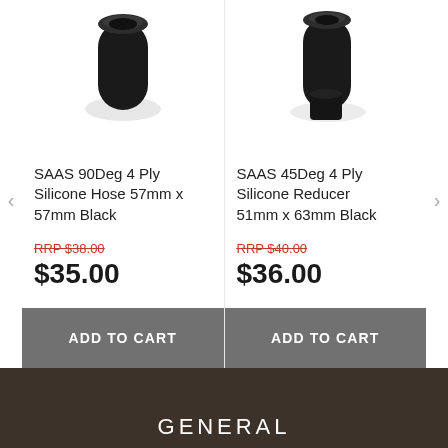[Figure (photo): Product image of SAAS 90Deg 4 Ply Silicone Hose black cylindrical tube viewed from above]
SAAS 90Deg 4 Ply Silicone Hose 57mm x 57mm Black
RRP $38.00
$35.00
ADD TO CART
[Figure (photo): Product image of SAAS 45Deg 4 Ply Silicone Reducer black cylindrical tube viewed from above]
SAAS 45Deg 4 Ply Silicone Reducer 51mm x 63mm Black
RRP $40.00
$36.00
ADD TO CART
GENERAL